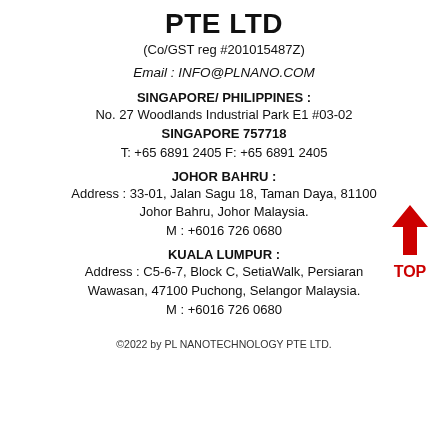PTE LTD
(Co/GST reg #201015487Z)
Email : INFO@PLNANO.COM
SINGAPORE/ PHILIPPINES :
No. 27 Woodlands Industrial Park E1 #03-02
SINGAPORE 757718
T: +65 6891 2405 F: +65 6891 2405
JOHOR BAHRU :
Address : 33-01, Jalan Sagu 18, Taman Daya, 81100
Johor Bahru, Johor Malaysia.
M : +6016 726 0680
KUALA LUMPUR :
Address : C5-6-7, Block C, SetiaWalk, Persiaran
Wawasan, 47100 Puchong, Selangor Malaysia.
M : +6016 726 0680
©2022 by PL NANOTECHNOLOGY PTE LTD.